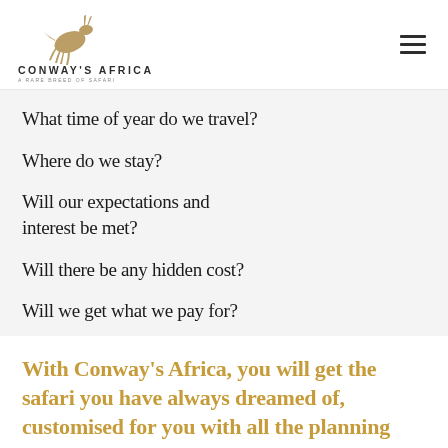CONWAY'S AFRICA · A RARE BREED OF SAFARI
What time of year do we travel?
Where do we stay?
Will our expectations and interest be met?
Will there be any hidden cost?
Will we get what we pay for?
With Conway's Africa, you will get the safari you have always dreamed of, customised for you with all the planning and